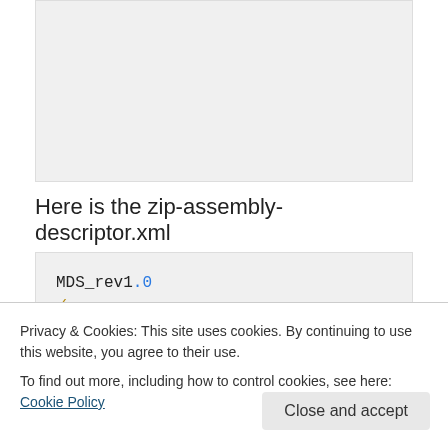[Figure (screenshot): Gray code block partially visible at top of page]
Here is the zip-assembly-descriptor.xml
MDS_rev1.0
/
    jar
Privacy & Cookies: This site uses cookies. By continuing to use this website, you agree to their use.
To find out more, including how to control cookies, see here: Cookie Policy